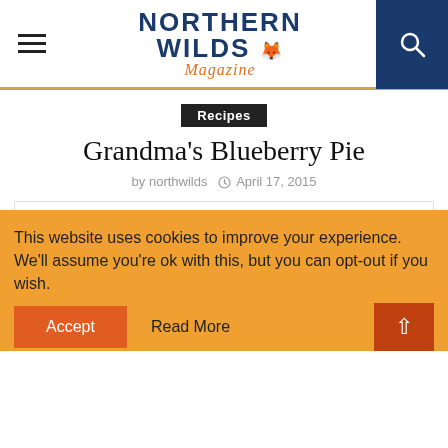Northern Wilds Magazine
Recipes
Grandma's Blueberry Pie
by northwilds  April 17, 2015
SHARE  0  (Facebook) (Twitter) (Pinterest) (LinkedIn) (Reddit) (Email)
This website uses cookies to improve your experience. We'll assume you're ok with this, but you can opt-out if you wish.